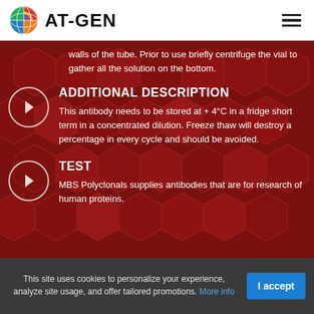AT-GEN
walls of the tube. Prior to use briefly centrifuge the vial to gather all the solution on the bottom.
ADDITIONAL DESCRIPTION
This antibody needs to be stored at + 4°C in a fridge short term in a concentrated dilution. Freeze thaw will destroy a percentage in every cycle and should be avoided.
TEST
MBS Polyclonals supplies antibodies that are for research of human proteins.
This site uses cookies to personalize your experience, analyze site usage, and offer tailored promotions. More info